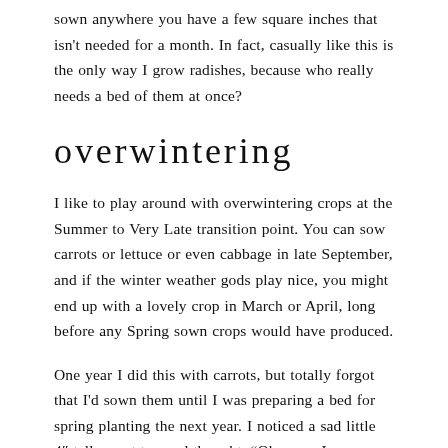sown anywhere you have a few square inches that isn't needed for a month. In fact, casually like this is the only way I grow radishes, because who really needs a bed of them at once?
overwintering
I like to play around with overwintering crops at the Summer to Very Late transition point. You can sow carrots or lettuce or even cabbage in late September, and if the winter weather gods play nice, you might end up with a lovely crop in March or April, long before any Spring sown crops would have produced.
One year I did this with carrots, but totally forgot that I'd sown them until I was preparing a bed for spring planting the next year. I noticed a sad little 4" tall carrot top and thought, "Oh, man, I guess that didn't work!" until I pulled the carrot up to find a full size, sweet and crunchy root attached! This is actually the easiest way for me to get maggot free carrots because an overwintered crop just